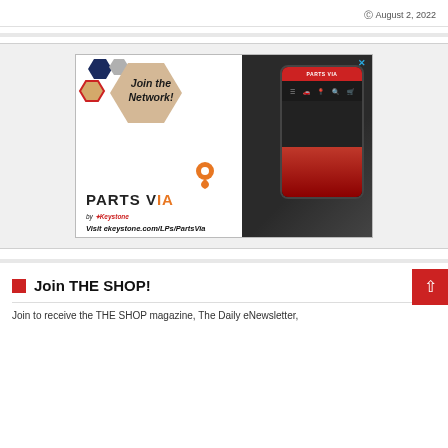August 2, 2022
[Figure (illustration): Parts Via by Keystone advertisement: 'Join the Network!' with hexagonal shapes, a smartphone showing the Parts Via website, the Parts Via logo with a map pin, and the URL ekeystone.com/LPs/PartsVia]
Join THE SHOP!
Join to receive the THE SHOP magazine, The Daily eNewsletter,